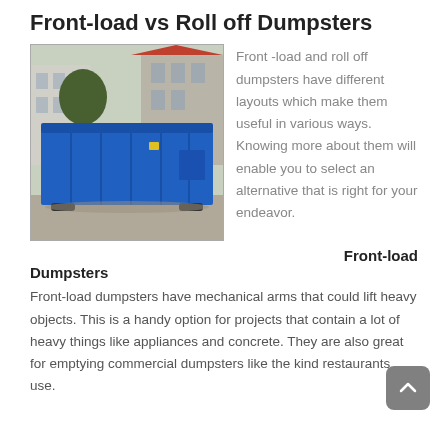Front-load vs Roll off Dumpsters
[Figure (photo): A large blue roll-off dumpster parked on a street with buildings and trees in the background.]
Front -load and roll off dumpsters have different layouts which make them useful in various ways. Knowing more about them will enable you to select an alternative that is right for your endeavor.
Front-load Dumpsters
Front-load dumpsters have mechanical arms that could lift heavy objects. This is a handy option for projects that contain a lot of heavy things like appliances and concrete. They are also great for emptying commercial dumpsters like the kind restaurants use.